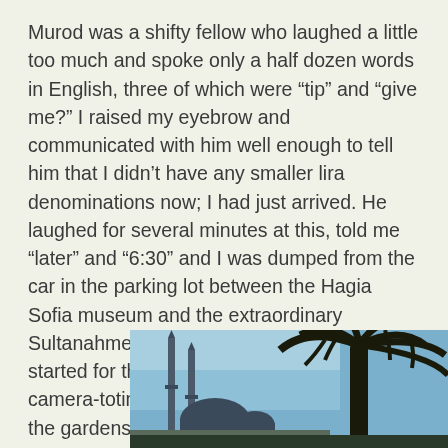Murod was a shifty fellow who laughed a little too much and spoke only a half dozen words in English, three of which were “tip” and “give me?” I raised my eyebrow and communicated with him well enough to tell him that I didn’t have any smaller lira denominations now; I had just arrived. He laughed for several minutes at this, told me “later” and “6:30” and I was dumped from the car in the parking lot between the Hagia Sofia museum and the extraordinary Sultanahmet Mosque. Backpack in hand, I started for the latter, joining the throng of camera-toting tourists maneuvering through the gardens towards its massive wooden gates.
[Figure (photo): Photograph showing mosque minarets against a blue sky with a dark palm tree silhouette in the foreground right side]